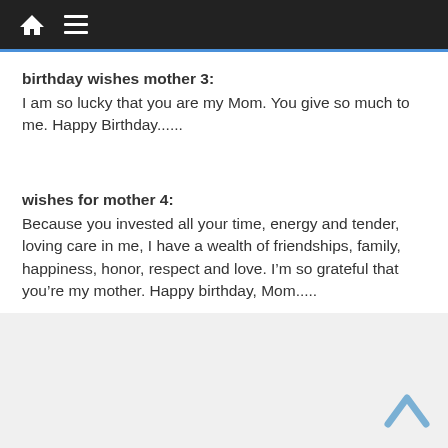[Navigation bar with home icon and menu icon]
birthday wishes mother 3:
I am so lucky that you are my Mom. You give so much to me. Happy Birthday......
wishes for mother 4:
Because you invested all your time, energy and tender, loving care in me, I have a wealth of friendships, family, happiness, honor, respect and love. I’m so grateful that you’re my mother. Happy birthday, Mom.....